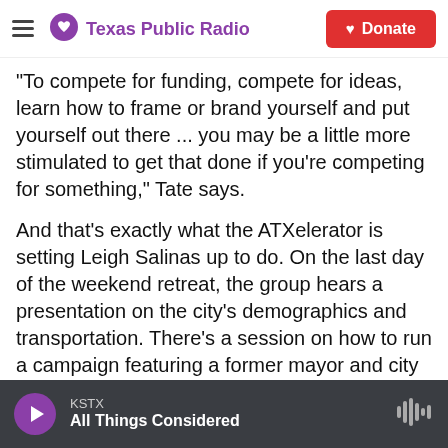Texas Public Radio | Donate
"To compete for funding, compete for ideas, learn how to frame or brand yourself and put yourself out there ... you may be a little more stimulated to get that done if you're competing for something," Tate says.
And that's exactly what the ATXelerator is setting Leigh Salinas up to do. On the last day of the weekend retreat, the group hears a presentation on the city's demographics and transportation. There's a session on how to run a campaign featuring a former mayor and city council member. Then, time to pack up.
KSTX All Things Considered